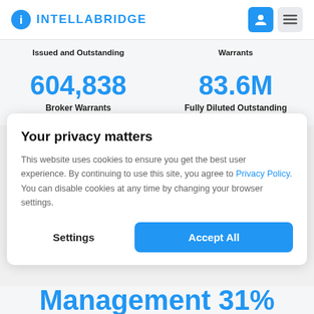INTELLABRIDGE
Issued and Outstanding
Warrants
604,838
Broker Warrants
83.6M
Fully Diluted Outstanding
Your privacy matters
This website uses cookies to ensure you get the best user experience. By continuing to use this site, you agree to Privacy Policy. You can disable cookies at any time by changing your browser settings.
Settings
Accept All
Management 31%